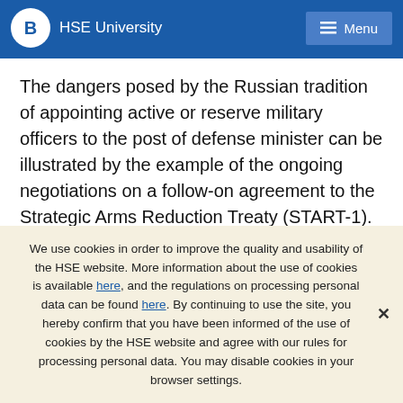HSE University  Menu
The dangers posed by the Russian tradition of appointing active or reserve military officers to the post of defense minister can be illustrated by the example of the ongoing negotiations on a follow-on agreement to the Strategic Arms Reduction Treaty (START-1). Now, when Russian negotiators are struggling with their U.S. counterparts for every warhead and launcher, few people remember that Anatoly Kvashnin, in the heat of his...
We use cookies in order to improve the quality and usability of the HSE website. More information about the use of cookies is available here, and the regulations on processing personal data can be found here. By continuing to use the site, you hereby confirm that you have been informed of the use of cookies by the HSE website and agree with our rules for processing personal data. You may disable cookies in your browser settings.